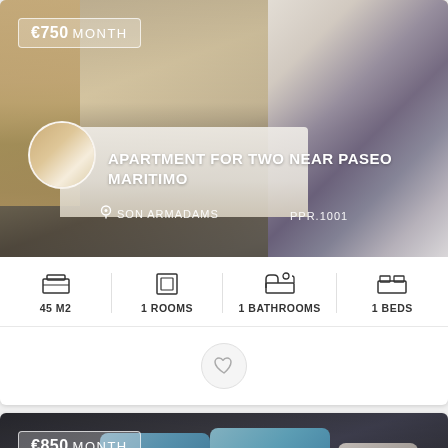[Figure (photo): Bedroom photo for apartment listing near Paseo Maritimo]
APARTMENT FOR TWO NEAR PASEO MARITIMO
SON ARMADAMS  PPR.1001
45 M2  1 ROOMS  1 BATHROOMS  1 BEDS
[Figure (photo): Living room sofa photo for second apartment listing, €850/month]